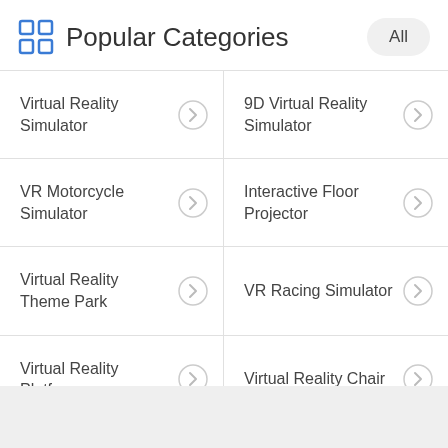Popular Categories
Virtual Reality Simulator
9D Virtual Reality Simulator
VR Motorcycle Simulator
Interactive Floor Projector
Virtual Reality Theme Park
VR Racing Simulator
Virtual Reality Platform
Virtual Reality Chair